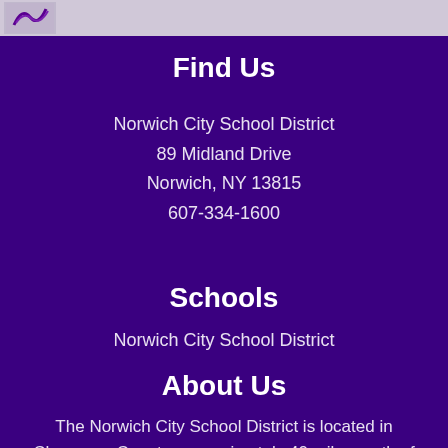[Figure (logo): School logo/icon in top-left header strip]
Find Us
Norwich City School District
89 Midland Drive
Norwich, NY 13815
607-334-1600
Schools
Norwich City School District
About Us
The Norwich City School District is located in Chenango County, approximately 40 miles north of